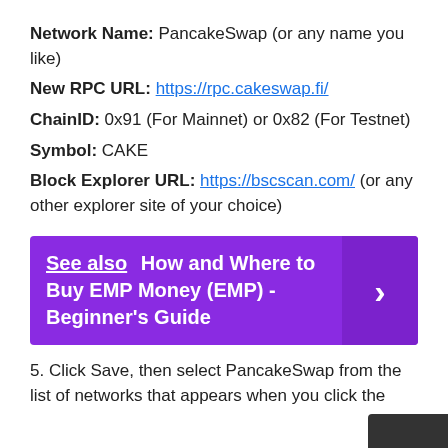Network Name: PancakeSwap (or any name you like)
New RPC URL: https://rpc.cakeswap.fi/
ChainID: 0x91 (For Mainnet) or 0x82 (For Testnet)
Symbol: CAKE
Block Explorer URL: https://bscscan.com/ (or any other explorer site of your choice)
See also  How and Where to Buy EMP Money (EMP) - Beginner's Guide
5. Click Save, then select PancakeSwap from the list of networks that appears when you click the